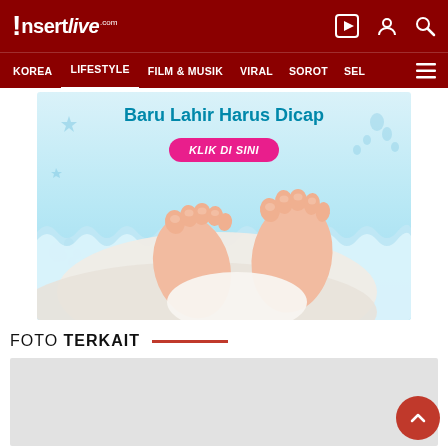Insertlive
KOREA  LIFESTYLE  FILM & MUSIK  VIRAL  SOROT  SEL
[Figure (photo): Advertisement banner with baby feet photo. Text reads 'Baru Lahir Harus Dicap' with a pink 'KLIK DI SINI' button, baby feet visible on light blue background with decorative wavy border.]
FOTO TERKAIT
[Figure (photo): Gray placeholder area for related photo content.]